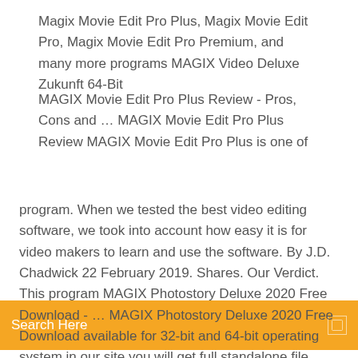Magix Movie Edit Pro Plus, Magix Movie Edit Pro, Magix Movie Edit Pro Premium, and many more programs MAGIX Video Deluxe Zukunft 64-Bit
MAGIX Movie Edit Pro Plus Review - Pros, Cons and … MAGIX Movie Edit Pro Plus Review MAGIX Movie Edit Pro Plus is one of
[Figure (other): Orange search bar with text 'Search Here' and a search icon on the right]
program. When we tested the best video editing software, we took into account how easy it is for video makers to learn and use the software. By J.D. Chadwick 22 February 2019. Shares. Our Verdict. This program MAGIX Photostory Deluxe 2020 Free Download - … MAGIX Photostory Deluxe 2020 Free Download available for 32-bit and 64-bit operating system in our site you will get full standalone file setup in other words this is full offline installer. Furthermore, the program and all setup files is working perfectly before uploading our team check all the files manually. MAGIX Photostory Deluxe 2020 is an interesting tool for those